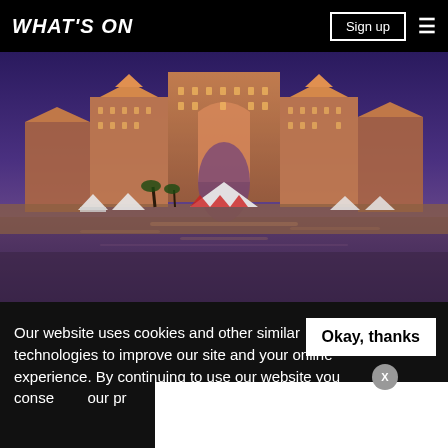WHAT'S ON | Sign up
[Figure (photo): Night photo of Atlantis The Palm hotel in Dubai, illuminated against a purple twilight sky, reflected in calm water, with beach tents in foreground]
Our website uses cookies and other similar technologies to improve our site and your online experience. By continuing to use our website you consen... our pr...
Okay, thanks